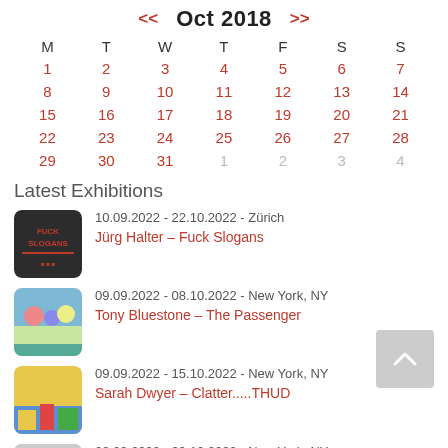[Figure (other): October 2018 calendar widget with navigation arrows, days M T W T F S S, dates 1-31 in red and overflow dates 1-4 in gray]
Latest Exhibitions
[Figure (photo): Fuck Slogans exhibition thumbnail image]
10.09.2022 - 22.10.2022 - Zürich
Jürg Halter – Fuck Slogans
[Figure (photo): Tony Bluestone The Passenger exhibition thumbnail]
09.09.2022 - 08.10.2022 - New York, NY
Tony Bluestone – The Passenger
[Figure (photo): Sarah Dwyer Clatter THUD exhibition thumbnail]
09.09.2022 - 15.10.2022 - New York, NY
Sarah Dwyer – Clatter.....THUD
[Figure (photo): Zoe Leonard exhibition thumbnail, black and white landscape]
08.09.2022 - 29.10.2022 - New York, NY
Zoe Leonard – Excerpts from 'Al río / To the River'